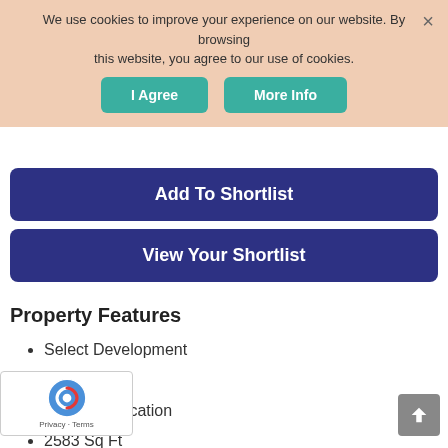We use cookies to improve your experience on our website. By browsing this website, you agree to our use of cookies.
I Agree   More Info
Add To Shortlist
View Your Shortlist
Property Features
Select Development
Brand New
High Specification
2583 Sq Ft
Reserve Now
5 Bedrooms
Bathrooms
Reception Rooms
ving Kitchen